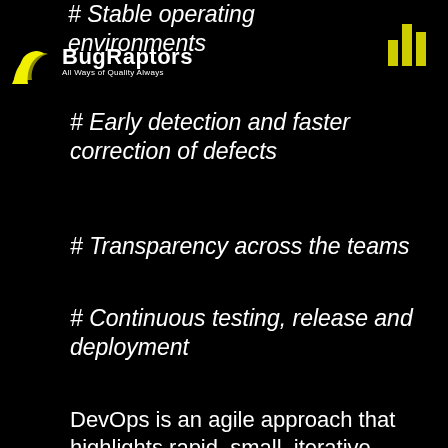# Stable operating environments
[Figure (logo): BugRaptors logo with bird/wing icon and tagline 'All Ways of Quality Always']
[Figure (infographic): Yellow vertical bar chart icon with 3 bars of varying heights]
# Early detection and faster correction of defects
# Transparency across the teams
# Continuous testing, release and deployment
DevOps is an agile approach that highlights rapid, small, iterative development and deployment of applications. It is driving enterprises to get well-organized and speed up the delivery of applications along